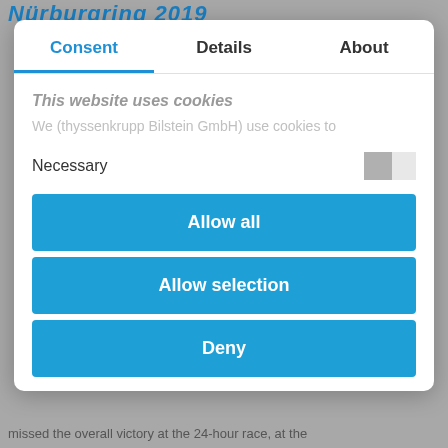Nürburgring 2019
Consent	Details	About
This website uses cookies
We (thyssenkrupp Bilstein GmbH) use cookies to
Necessary
Allow all
Allow selection
Deny
missed the overall victory at the 24-hour race, at the